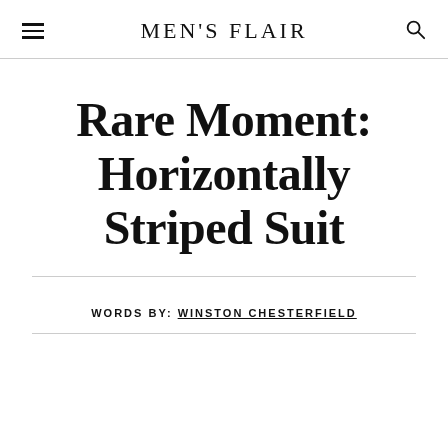MEN'S FLAIR
Rare Moment: Horizontally Striped Suit
WORDS BY: WINSTON CHESTERFIELD